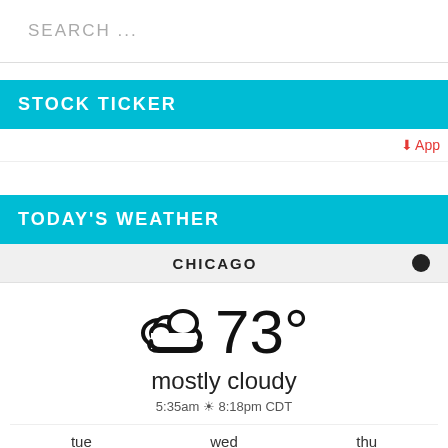SEARCH ...
STOCK TICKER
↓ App
TODAY'S WEATHER
CHICAGO
[Figure (infographic): Cloud icon with 73° temperature, mostly cloudy weather. Sun times: 5:35am ☼ 8:18pm CDT. Forecast rows showing tue min 72°F, wed 82/68°F, thu 77/68°F with sun/cloud icons.]